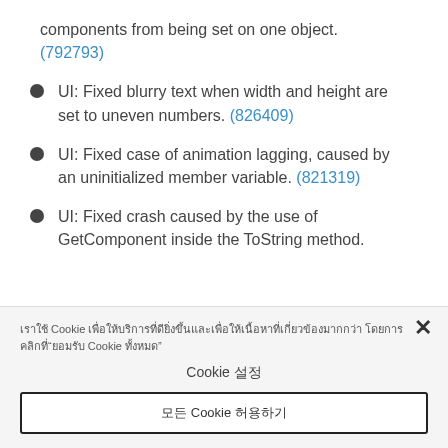components from being set on one object. (792793)
UI: Fixed blurry text when width and height are set to uneven numbers. (826409)
UI: Fixed case of animation lagging, caused by an uninitialized member variable. (821319)
UI: Fixed crash caused by the use of GetComponent inside the ToString method.
Cookie notice text in Thai
Cookie 설정
모든 Cookie 허용하기